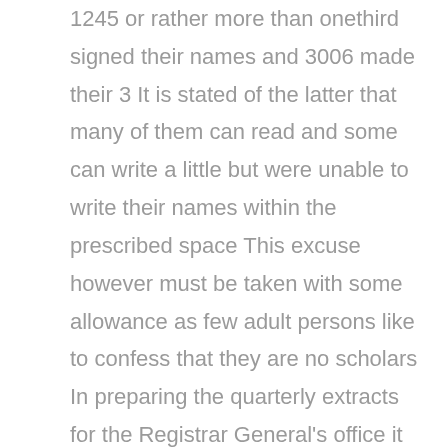1245 or rather more than onethird signed their names and 3006 made their 3 It is stated of the latter that many of them can read and some can write a little but were unable to write their names within the prescribed space This excuse however must be taken with some allowance as few adult persons like to confess that they are no scholars In preparing the quarterly extracts for the Registrar General's office it would be easy for the superintendent and other registrars to note a variety of interesting facts In nuinerous cases we